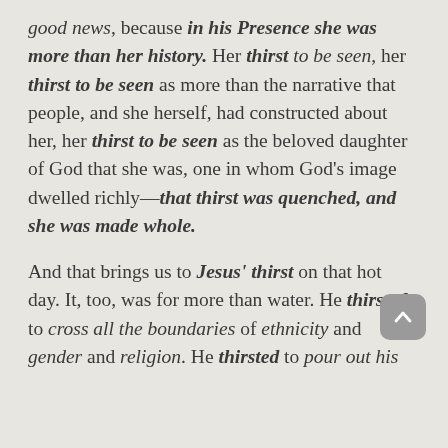good news, because in his Presence she was more than her history. Her thirst to be seen, her thirst to be seen as more than the narrative that people, and she herself, had constructed about her, her thirst to be seen as the beloved daughter of God that she was, one in whom God's image dwelled richly—that thirst was quenched, and she was made whole.
And that brings us to Jesus' thirst on that hot day. It, too, was for more than water. He thirsted to cross all the boundaries of ethnicity and gender and religion. He thirsted to pour out his